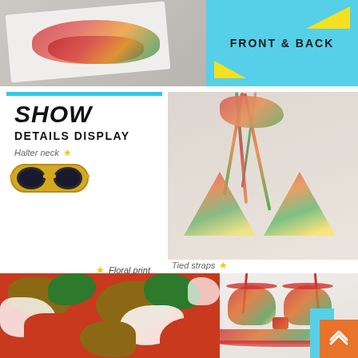[Figure (photo): Floral print bikini bottom on white marble surface]
[Figure (infographic): Cyan banner with FRONT & BACK text and yellow arrow decorations]
[Figure (photo): Close-up of floral bikini top with tied halter straps on white background]
SHOW
DETAILS DISPLAY
Halter neck
[Figure (illustration): Yellow sunglasses illustration]
Tied straps
Floral print
[Figure (photo): Close-up of floral fabric pattern in red green and gold camouflage style]
[Figure (photo): Close-up of floral bikini top front view showing ruffled trim and tied center]